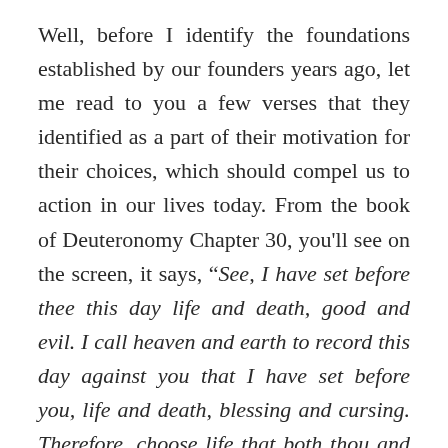Well, before I identify the foundations established by our founders years ago, let me read to you a few verses that they identified as a part of their motivation for their choices, which should compel us to action in our lives today. From the book of Deuteronomy Chapter 30, you'll see on the screen, it says, “See, I have set before thee this day life and death, good and evil. I call heaven and earth to record this day against you that I have set before you, life and death, blessing and cursing. Therefore, choose life that both thou and thy seed may live. That thou mayest love